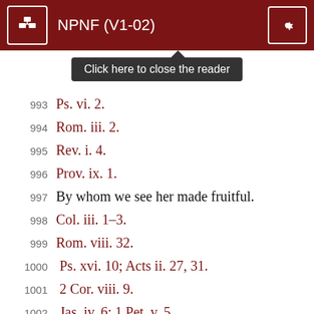NPNF (V1-02)
993   Ps. vi. 2.
994   Rom. iii. 2.
995   Rev. i. 4.
996   Prov. ix. 1.
997   By whom we see her made fruitful.
998   Col. iii. 1–3.
999   Rom. viii. 32.
1000   Ps. xvi. 10; Acts ii. 27, 31.
1001   2 Cor. viii. 9.
1002   Jas. iv. 6; 1 Pet. v. 5.
1003   For the poor man is the same as the